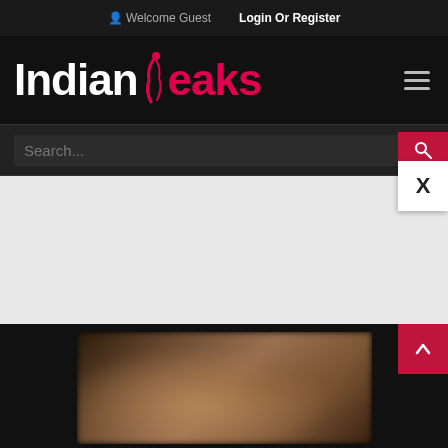Welcome Guest  Login Or Register
[Figure (logo): IndianLeaks website logo with stylized female figure between 'Indian' in white and 'leaks' in red/pink text]
Search...
[Figure (screenshot): Video thumbnail showing blurry image content in dark frame with back-to-top button]